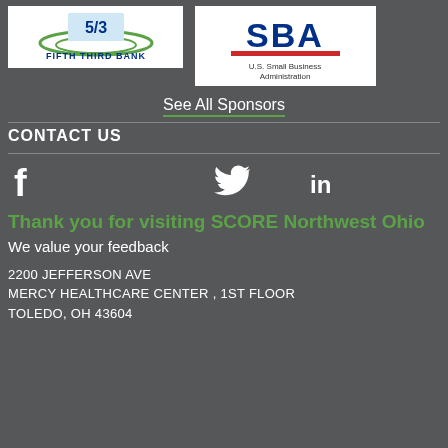[Figure (logo): Fifth Third Bank logo - white background with blue/green 53 icon and text FIFTH THIRD BANK]
[Figure (logo): SBA U.S. Small Business Administration logo - white background with blue SBA letters and red bracket]
See All Sponsors
CONTACT US
[Figure (infographic): Social media icons: Facebook (f), Twitter (bird), LinkedIn (in)]
Thank you for visiting SCORE Northwest Ohio
We value your feedback
2200 JEFFERSON AVE
MERCY HEALTHCARE CENTER , 1ST FLOOR
TOLEDO, OH 43604